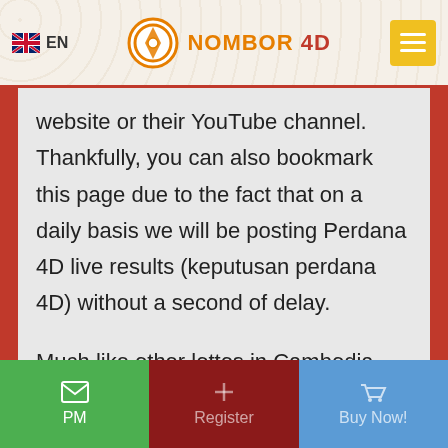EN | NOMBOR 4D
website or their YouTube channel. Thankfully, you can also bookmark this page due to the fact that on a daily basis we will be posting Perdana 4D live results (keputusan perdana 4D) without a second of delay.
Much like other lottos in Cambodia and other parts of Asia, Perdana 4D presents you the chance to identify precisely just how much you will invest to obtain tickets. When figuring out the amount, bear in mind the concept of
PM | Register | Buy Now!